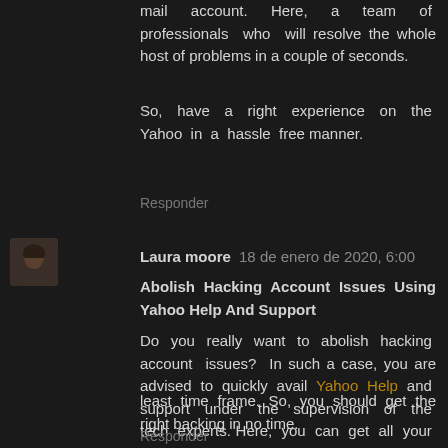mail account. Here, a team of professionals who will resolve the whole host of problems in a couple of seconds.
So, have a right experience on the Yahoo in a hassle free manner.
Responder
Laura moore 18 de enero de 2020, 6:00
Abolish Hacking Account Issues Using Yahoo Help And Support
Do you really want to abolish hacking account issues? In such a case, you are advised to quickly avail Yahoo Help and support under the supervision of the tech experts. Here, you can get all your worries and issues sorted out within a
least time frame. So, you should get the right backing in no time.
Responder